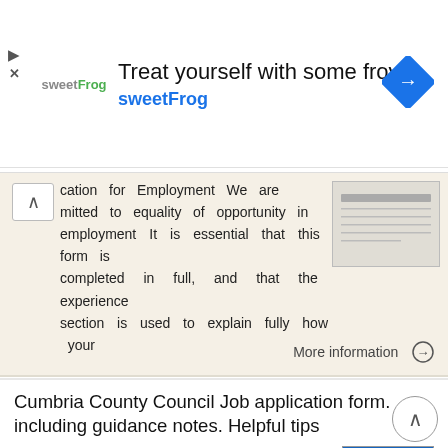[Figure (other): SweetFrog advertisement banner with logo, text 'Treat yourself with some froyo sweetFrog', and a blue diamond navigation icon]
cation for Employment We are mitted to equality of opportunity in employment It is essential that this form is completed in full, and that the experience section is used to explain fully how your
More information →
Cumbria County Council Job application form. including guidance notes. Helpful tips
Cumbria County Council Job application form including guidance notes Helpful tips Use a black pen and write in CAPITAL LETTERS. Write as clearly as you can. Check that you have enclosed all the evidence